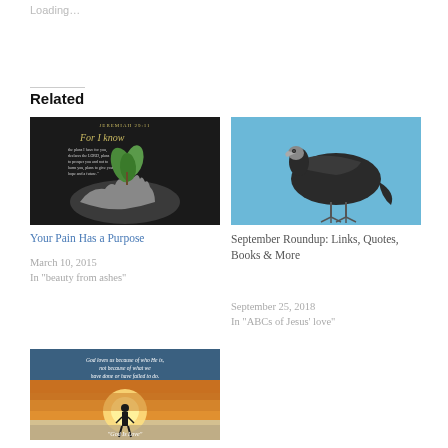Loading…
Related
[Figure (photo): Dark background with hands holding a plant seedling and text: JEREMIAH 29:11, For I know the plans I have for you, declares the LORD, plans to prosper you and not to harm you, plans to give you hope and a future.]
Your Pain Has a Purpose
March 10, 2015
In "beauty from ashes"
[Figure (photo): A black vulture bird standing against a blue sky background.]
September Roundup: Links, Quotes, Books & More
September 25, 2018
In "ABCs of Jesus' love"
[Figure (photo): Sunset beach scene with a person silhouette and text: God loves us because of who He is, not because of what we have done or have failed to do. God Is Love.]
Longing For a Heart of